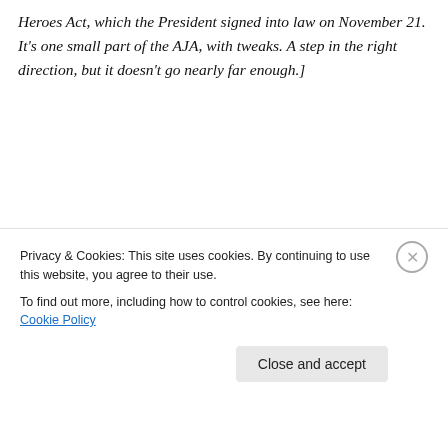Heroes Act, which the President signed into law on November 21. It's one small part of the AJA, with tweaks. A step in the right direction, but it doesn't go nearly far enough.]
[Figure (photo): Black and white photograph of two young children, one lying down and one leaning over, appearing to be playing or wrestling.]
Haha! No, wait.
Cut it out!
The fine line between fun and frustration
Privacy & Cookies: This site uses cookies. By continuing to use this website, you agree to their use. To find out more, including how to control cookies, see here: Cookie Policy
Close and accept